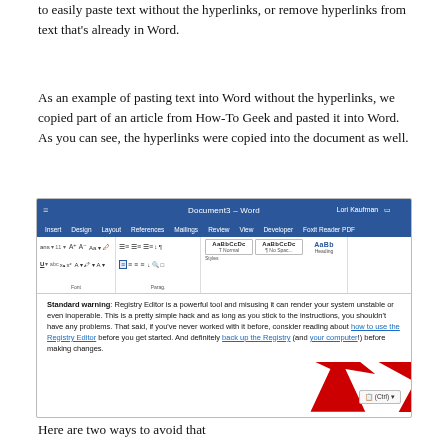to easily paste text without the hyperlinks, or remove hyperlinks from text that's already in Word.
As an example of pasting text into Word without the hyperlinks, we copied part of an article from How-To Geek and pasted it into Word. As you can see, the hyperlinks were copied into the document as well.
[Figure (screenshot): Microsoft Word window showing the ribbon toolbar and a document body with bold text 'Standard warning: Registry Editor is a powerful tool and misusing it can render your system unstable or even inoperable...' with blue hyperlinks and a red arrow pointing to the paste options button area.]
Here are two ways to avoid that